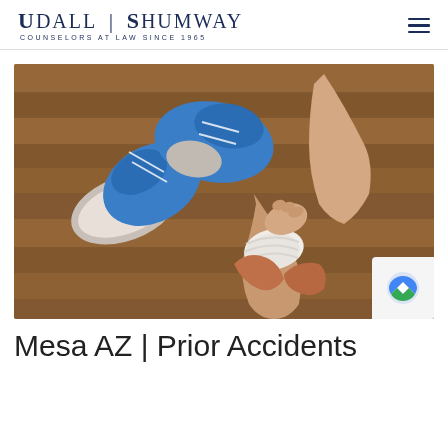Udall | Shumway — Counselors at Law Since 1965
[Figure (photo): Overhead view of a person sitting on a wooden floor with a bandaged ankle, blue running shoes next to them, and a second bare foot raised. A hand is supporting the injured ankle. Sports injury / personal injury visual.]
Mesa AZ | Prior Accidents